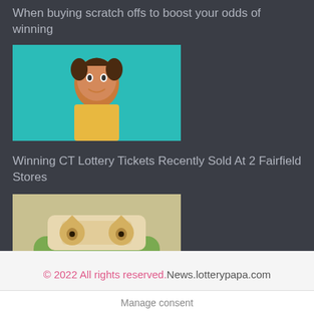When buying scratch offs to boost your odds of winning
[Figure (photo): Woman in yellow top celebrating against teal/cyan background]
Winning CT Lottery Tickets Recently Sold At 2 Fairfield Stores
[Figure (photo): Green couch with cat figurines and decorative cushion]
Another 'Mimikyu's Cafe Time' lottery event announced for Japan
© 2022 All rights reserved.News.lotterypapa.com
Manage consent